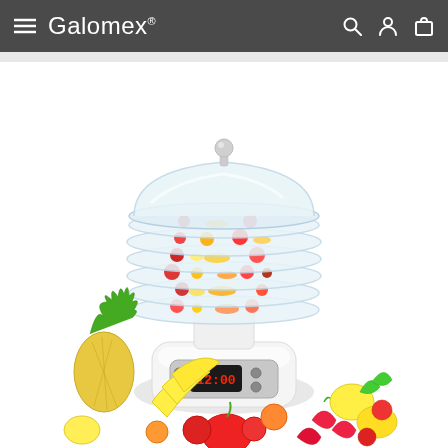Galomex
[Figure (photo): A white electric food dehydrator with multiple transparent trays filled with various fruits including strawberries, tomatoes, and citrus slices. The dehydrator has a digital timer display showing 12:00. Surrounding the base are fresh fruits including pineapple, bananas, lemons, red bell peppers, strawberries, and other colorful produce on a white background.]